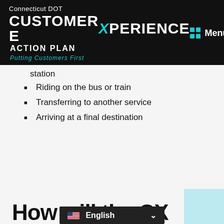Connecticut DOT CUSTOMER EXPERIENCE ACTION PLAN Putting Customers First
station
Riding on the bus or train
Transferring to another service
Arriving at a final destination
How will the CX Action Plan be developed?
English